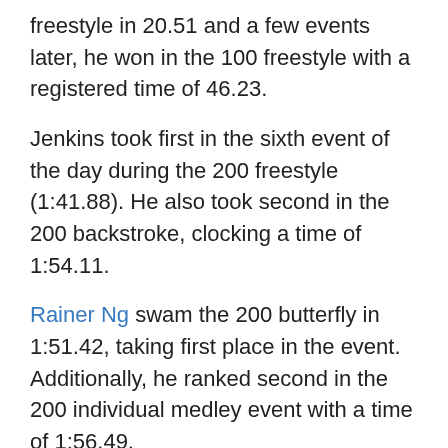freestyle in 20.51 and a few events later, he won in the 100 freestyle with a registered time of 46.23.
Jenkins took first in the sixth event of the day during the 200 freestyle (1:41.88). He also took second in the 200 backstroke, clocking a time of 1:54.11.
Rainer Ng swam the 200 butterfly in 1:51.42, taking first place in the event. Additionally, he ranked second in the 200 individual medley event with a time of 1:56.49.
Savannah DuPuis, a freshman from San Clemente, California, had one of her first victories this season while swimming the 1000 freestyle event in 10:51.13
In the women's 200 backstroke, Lauren Shaw Taylor followed Utah's Mallori Allen to take second place (2:08.71). She was followed by Kelly Hatanaka, a sophomore from Loveland, Colorado, who swam the event in 2:09.80.